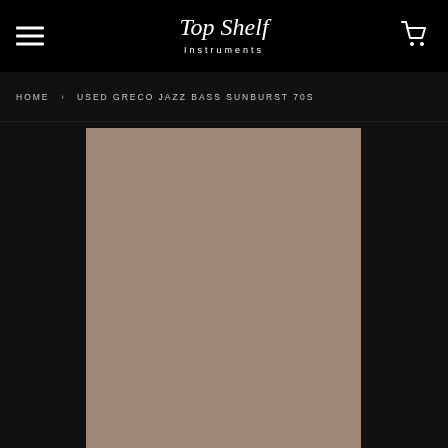[Figure (logo): Top Shelf Instruments cursive logo in white on black header bar]
HOME › USED GRECO JAZZ BASS SUNBURST 70S
[Figure (photo): Product photo placeholder — muted brownish-grey rectangular area representing a bass guitar image]